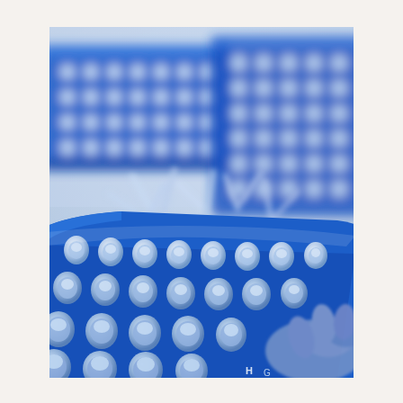[Figure (photo): Close-up photograph of blue laboratory PCR tube racks and microplate holders with clear plastic tubes/tips scattered around, with a gloved hand visible in the lower right corner. The image is dominated by shades of blue — blue plastic racks with circular wells and transparent sample tubes. A medical/scientific laboratory setting.]